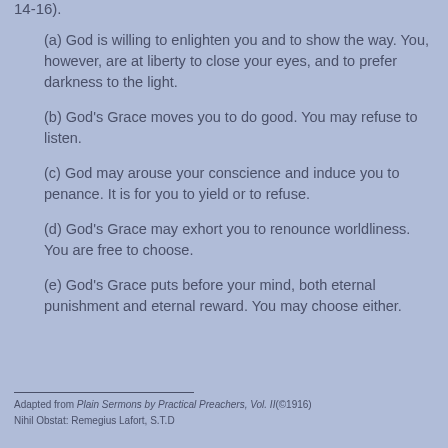14-16).
(a) God is willing to enlighten you and to show the way. You, however, are at liberty to close your eyes, and to prefer darkness to the light.
(b) God's Grace moves you to do good. You may refuse to listen.
(c) God may arouse your conscience and induce you to penance. It is for you to yield or to refuse.
(d) God's Grace may exhort you to renounce worldliness. You are free to choose.
(e) God's Grace puts before your mind, both eternal punishment and eternal reward. You may choose either.
Adapted from Plain Sermons by Practical Preachers, Vol. II(©1916)
Nihil Obstat: Remegius Lafort, S.T.D